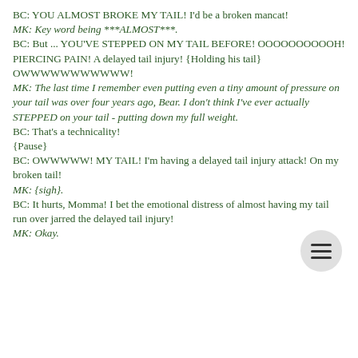BC: YOU ALMOST BROKE MY TAIL! I'd be a broken mancat!
MK: Key word being ***ALMOST***.
BC: But ... YOU'VE STEPPED ON MY TAIL BEFORE! OOOOOOOOOOH! PIERCING PAIN! A delayed tail injury! {Holding his tail} OWWWWWWWWWWW!
MK: The last time I remember even putting even a tiny amount of pressure on your tail was over four years ago, Bear. I don't think I've ever actually STEPPED on your tail - putting down my full weight.
BC: That's a technicality!
{Pause}
BC: OWWWWW! MY TAIL! I'm having a delayed tail injury attack! On my broken tail!
MK: {sigh}.
BC: It hurts, Momma! I bet the emotional distress of almost having my tail run over jarred the delayed tail injury!
MK: Okay.